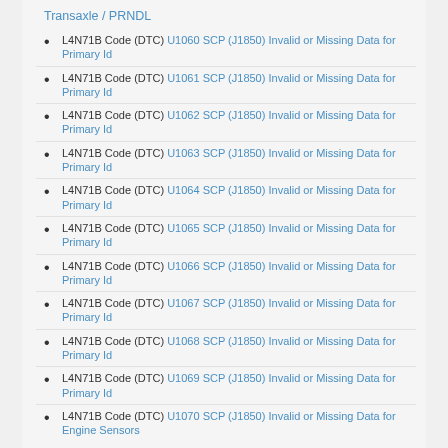Transaxle / PRNDL
L4N71B Code (DTC) U1060 SCP (J1850) Invalid or Missing Data for Primary Id
L4N71B Code (DTC) U1061 SCP (J1850) Invalid or Missing Data for Primary Id
L4N71B Code (DTC) U1062 SCP (J1850) Invalid or Missing Data for Primary Id
L4N71B Code (DTC) U1063 SCP (J1850) Invalid or Missing Data for Primary Id
L4N71B Code (DTC) U1064 SCP (J1850) Invalid or Missing Data for Primary Id
L4N71B Code (DTC) U1065 SCP (J1850) Invalid or Missing Data for Primary Id
L4N71B Code (DTC) U1066 SCP (J1850) Invalid or Missing Data for Primary Id
L4N71B Code (DTC) U1067 SCP (J1850) Invalid or Missing Data for Primary Id
L4N71B Code (DTC) U1068 SCP (J1850) Invalid or Missing Data for Primary Id
L4N71B Code (DTC) U1069 SCP (J1850) Invalid or Missing Data for Primary Id
L4N71B Code (DTC) U1070 SCP (J1850) Invalid or Missing Data for Engine Sensors